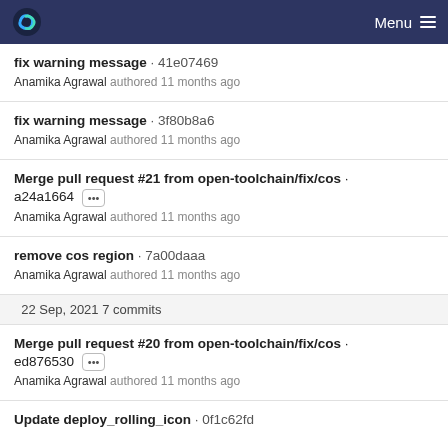Menu
fix warning message · 41e07469
Anamika Agrawal authored 11 months ago
fix warning message · 3f80b8a6
Anamika Agrawal authored 11 months ago
Merge pull request #21 from open-toolchain/fix/cos · a24a1664 [...]
Anamika Agrawal authored 11 months ago
remove cos region · 7a00daaa
Anamika Agrawal authored 11 months ago
22 Sep, 2021 7 commits
Merge pull request #20 from open-toolchain/fix/cos · ed876530 [...]
Anamika Agrawal authored 11 months ago
Update deploy_rolling_icon · 0f1c62fd